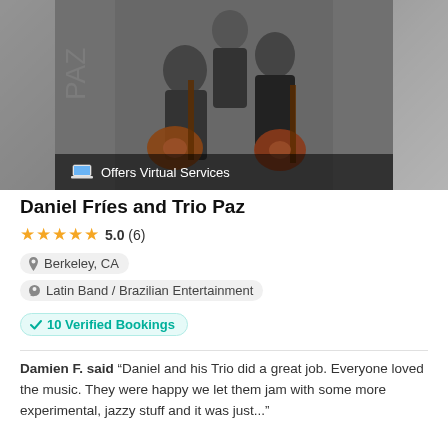[Figure (photo): Black and white photo of three musicians holding classical guitars, with blurred edges on sides and a virtual services banner overlay at the bottom]
Daniel Fríes and Trio Paz
★★★★★ 5.0 (6)
Berkeley, CA
Latin Band / Brazilian Entertainment
✓ 10 Verified Bookings
Damien F. said "Daniel and his Trio did a great job. Everyone loved the music. They were happy we let them jam with some more experimental, jazzy stuff and it was just…"